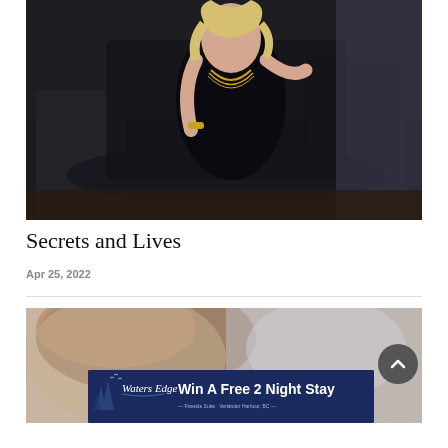[Figure (photo): Woman in black dress sitting on a black leather chair, wearing gold necklace and bracelet, blond hair, dark moody interior background]
Secrets and Lives
Apr 25, 2022
[Figure (photo): Partial view of a person with brown hair, blurred background]
[Figure (other): Waters Edge advertisement banner: Win A Free 2 Night Stay - Fireside Suite, Verlander Harbour BC]